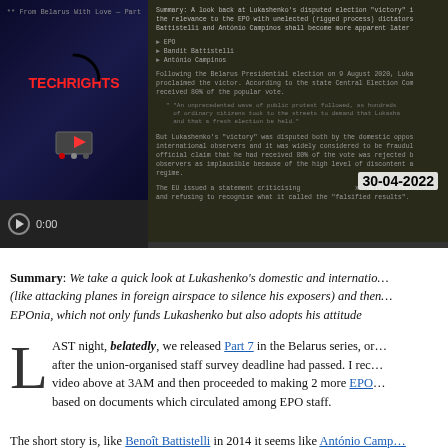[Figure (screenshot): Embedded video player showing a Techrights video thumbnail (dark background with stars/space theme and TECHRIGHTS branding in red). The right side shows article text in monospace font on a dark background. A date stamp '30-04-2022' is overlaid. Controls show play button and 0:00 timestamp.]
Summary: We take a quick look at Lukashenko's domestic and international actions (like attacking planes in foreign airspace to silence his exposers) and then connect to EPOnia, which not only funds Lukashenko but also adopts his attitude
AST night, belatedly, we released Part 7 in the Belarus series, or maybe it was after the union-organised staff survey deadline had passed. I recorded the video above at 3AM and then proceeded to making 2 more EPO videos based on documents which circulated among EPO staff.
The short story is, like Benoît Battistelli in 2014 it seems like António Camp…